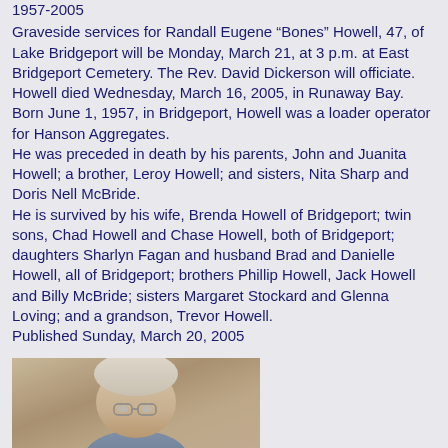1957-2005
Graveside services for Randall Eugene “Bones” Howell, 47, of Lake Bridgeport will be Monday, March 21, at 3 p.m. at East Bridgeport Cemetery. The Rev. David Dickerson will officiate.
Howell died Wednesday, March 16, 2005, in Runaway Bay. Born June 1, 1957, in Bridgeport, Howell was a loader operator for Hanson Aggregates.
He was preceded in death by his parents, John and Juanita Howell; a brother, Leroy Howell; and sisters, Nita Sharp and Doris Nell McBride.
He is survived by his wife, Brenda Howell of Bridgeport; twin sons, Chad Howell and Chase Howell, both of Bridgeport; daughters Sharlyn Fagan and husband Brad and Danielle Howell, all of Bridgeport; brothers Phillip Howell, Jack Howell and Billy McBride; sisters Margaret Stockard and Glenna Loving; and a grandson, Trevor Howell.
Published Sunday, March 20, 2005
Hoyl, Dale Garrison
1916-2005
[Figure (photo): Portrait photo of Dale Garrison Hoyl, an elderly person with white/gray hair and glasses]